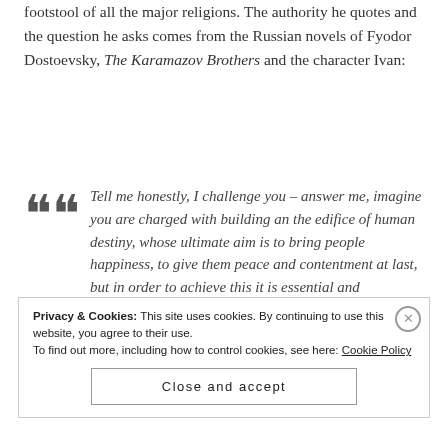footstool of all the major religions. The authority he quotes and the question he asks comes from the Russian novels of Fyodor Dostoevsky, The Karamazov Brothers and the character Ivan:
Tell me honestly, I challenge you – answer me, imagine you are charged with building an the edifice of human destiny, whose ultimate aim is to bring people happiness, to give them peace and contentment at last, but in order to achieve this it is essential and unavoidable to torture just one little speck or creation, the same little child beating his breasts with his little fists, and imagine this edifice to be erected on her
Privacy & Cookies: This site uses cookies. By continuing to use this website, you agree to their use.
To find out more, including how to control cookies, see here: Cookie Policy
Close and accept